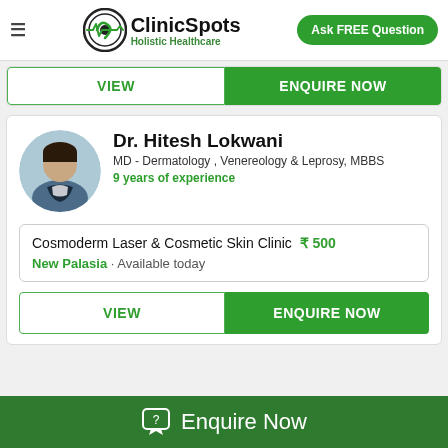ClinicSpots - Holistic Healthcare | Ask FREE Question
[Figure (screenshot): Partial doctor card with VIEW and ENQUIRE NOW buttons at top]
[Figure (photo): Circular profile photo of Dr. Hitesh Lokwani]
Dr. Hitesh Lokwani
MD - Dermatology , Venereology & Leprosy, MBBS
9 years of experience
Cosmoderm Laser & Cosmetic Skin Clinic  ₹ 500
New Palasia · Available today
Enquire Now